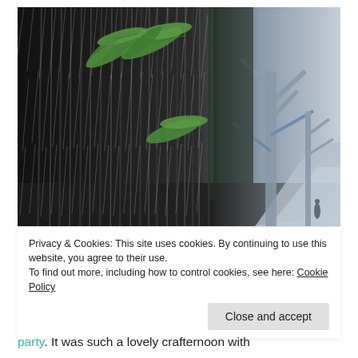[Figure (photo): Black and white photograph showing bamboo forest in heavy rain on the left with a few green fern leaves visible, transitioning to a snowy park path with bare trees on the right. A lone figure is seen on the path in the distance.]
Privacy & Cookies: This site uses cookies. By continuing to use this website, you agree to their use.
To find out more, including how to control cookies, see here: Cookie Policy
Close and accept
party. It was such a lovely crafternoon with